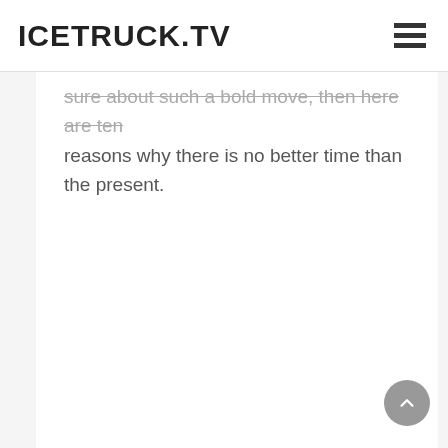ICETRUCK.TV
sure about such a bold move, then here are ten reasons why there is no better time than the present.